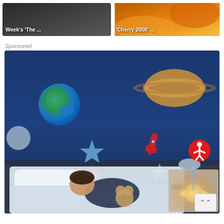[Figure (screenshot): Two video thumbnail images side by side. Left thumbnail shows dark image with white bold text "Week's 'The ...". Right thumbnail shows colorful warm-toned image with white bold text "'Cherry 2000' ...".]
Sponsored
[Figure (photo): Advertisement photo of a child sleeping in a bed with space-themed decorations on a blue wall behind them. Decorations include a globe (Earth), Saturn, stars, and rockets. A nightstand with a lamp is to the right. A red accessibility icon button is visible in the lower right of the image. A scroll-to-top arrow button appears at the bottom right corner.]